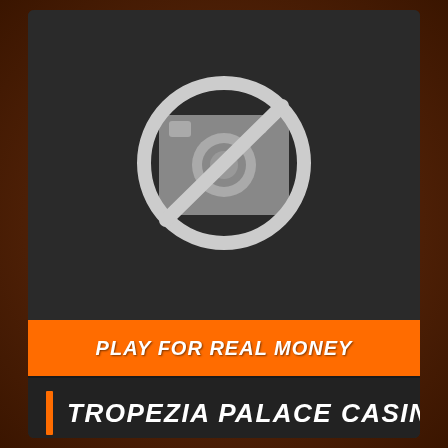[Figure (illustration): No image placeholder icon: a camera icon with a prohibition circle and diagonal slash over it, on a dark background.]
PLAY FOR REAL MONEY
TROPEZIA PALACE CASINO